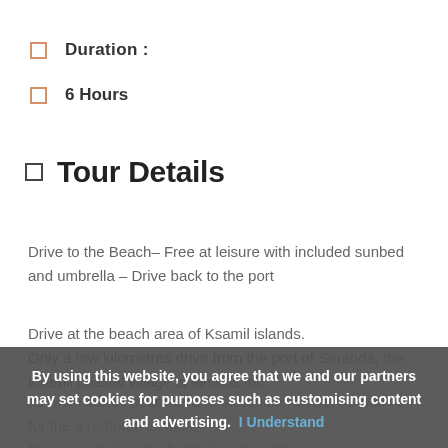Duration :
6 Hours
Tour Details
Drive to the Beach– Free at leisure with included sunbed and umbrella – Drive back to the port
Drive at the beach area of Ksamil islands. Only a few kilometres drive from the port of Saranda, the Ksamil coastal village is famous for its white sandy beaches and turquoise waters, as well as for the 4 remoted islands. Enjoy a relaxing day by the beach, with a
By using this website, you agree that we and our partners may set cookies for purposes such as customising content and advertising. I Understand